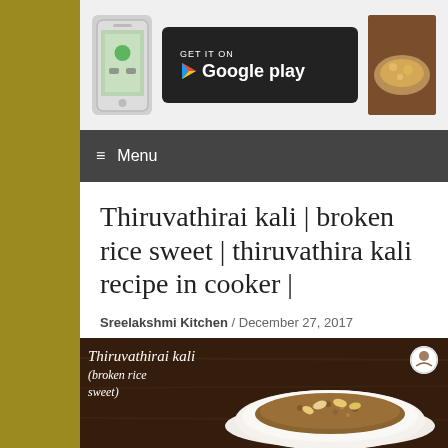[Figure (screenshot): Banner area showing a mobile app and Google Play store button alongside a food thumbnail]
≡  Menu
Thiruvathirai kali | broken rice sweet | thiruvathira kali recipe in cooker |
Sreelakshmi Kitchen / December 27, 2017
[Figure (photo): Food photo showing Thiruvathirai kali (broken rice sweet) with cashews in a white plate on a dark wooden surface, with text overlay reading 'Thiruvathirai kali (broken rice sweet)']